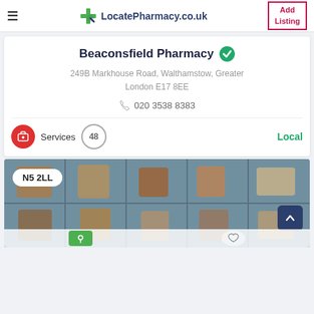LocatePharmacy.co.uk — Add Listing
Beaconsfield Pharmacy
249B Markhouse Road, Walthamstow, Greater London E17 8EE
020 3538 8383
Services 48 Local
[Figure (photo): Pharmacy shelves with jars and bottles, postcode label N5 2LL overlay]